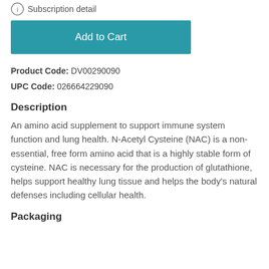Subscription detail
Add to Cart
Product Code: DV00290090
UPC Code: 026664229090
Description
An amino acid supplement to support immune system function and lung health. N-Acetyl Cysteine (NAC) is a non-essential, free form amino acid that is a highly stable form of cysteine. NAC is necessary for the production of glutathione, helps support healthy lung tissue and helps the body's natural defenses including cellular health.
Packaging